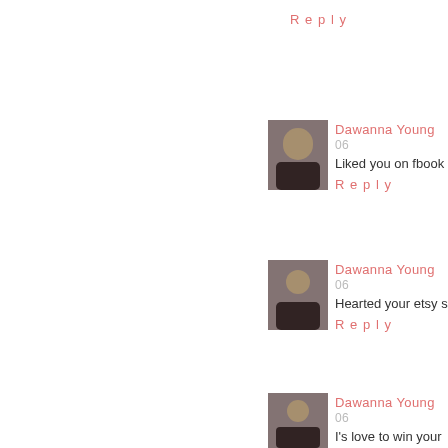Reply
Dawanna Young 06 ...
Liked you on fbook
Reply
Dawanna Young 06 ...
Hearted your etsy s...
Reply
Dawanna Young 06 ...
I's love to win your ... love what I do and ...
Reply
Stacey 06 April, 20...
I need to spread th... lot of my heart int... hole where people a... than spending a few...